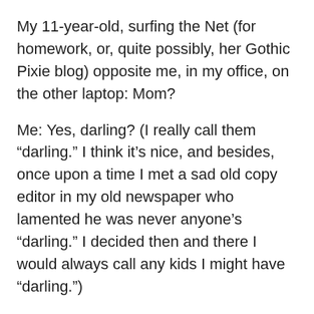My 11-year-old, surfing the Net (for homework, or, quite possibly, her Gothic Pixie blog) opposite me, in my office, on the other laptop: Mom?
Me: Yes, darling? (I really call them “darling.” I think it’s nice, and besides, once upon a time I met a sad old copy editor in my old newspaper who lamented he was never anyone’s “darling.” I decided then and there I would always call any kids I might have “darling.”)
Daughter: Mom, my teacher Mrs. W. has bees in her classroom. I hate bees. They come right in and scare me. What should I do?
Me: (completely stymied) Um....
Daughter: What should I do, Mom? I’m afraid to talk to her,